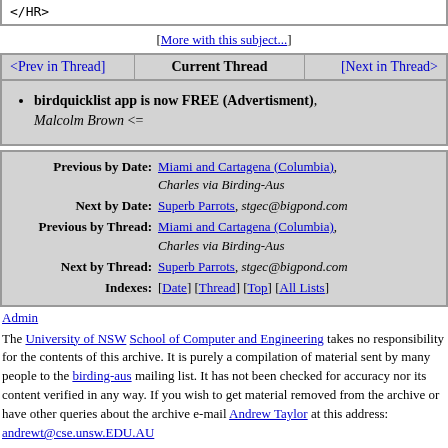</HR>
[More with this subject...]
| <Prev in Thread] | Current Thread | [Next in Thread> |
| --- | --- | --- |
birdquicklist app is now FREE (Advertisment), Malcolm Brown <=
| Label | Value |
| --- | --- |
| Previous by Date: | Miami and Cartagena (Columbia), Charles via Birding-Aus |
| Next by Date: | Superb Parrots, stgec@bigpond.com |
| Previous by Thread: | Miami and Cartagena (Columbia), Charles via Birding-Aus |
| Next by Thread: | Superb Parrots, stgec@bigpond.com |
| Indexes: | [Date] [Thread] [Top] [All Lists] |
Admin
The University of NSW School of Computer and Engineering takes no responsibility for the contents of this archive. It is purely a compilation of material sent by many people to the birding-aus mailing list. It has not been checked for accuracy nor its content verified in any way. If you wish to get material removed from the archive or have other queries about the archive e-mail Andrew Taylor at this address: andrewt@cse.unsw.EDU.AU